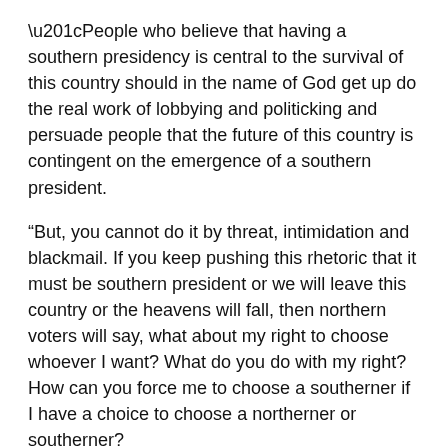“People who believe that having a southern presidency is central to the survival of this country should in the name of God get up do the real work of lobbying and politicking and persuade people that the future of this country is contingent on the emergence of a southern president.
“But, you cannot do it by threat, intimidation and blackmail. If you keep pushing this rhetoric that it must be southern president or we will leave this country or the heavens will fall, then northern voters will say, what about my right to choose whoever I want? What do you do with my right? How can you force me to choose a southerner if I have a choice to choose a northerner or southerner?
“That is the point we have been making. You cannot legislate this, it is not in the law.”
Baba-Ahmed believes Buhari is largely responsible for the current separatist agitations in the country by